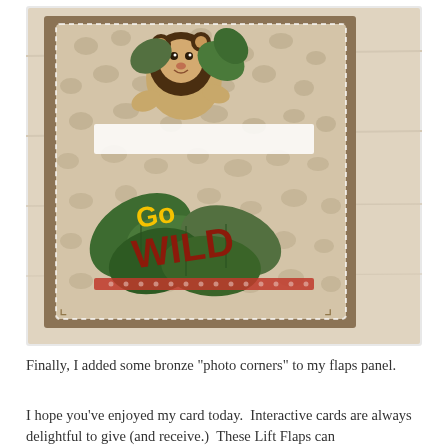[Figure (photo): A handmade interactive card featuring a safari/jungle theme. The card shows a lion die-cut peeking over green tropical leaves, placed on a giraffe-print patterned background in tan and brown. The card has a kraft brown mat/frame. Green layered leaves and bold letters spelling 'Go WILD' in yellow and red are visible. Bronze decorative photo corners are on the flaps panel. The card is displayed on a light wood surface.]
Finally, I added some bronze "photo corners" to my flaps panel.
I hope you've enjoyed my card today.  Interactive cards are always delightful to give (and receive.)  These Lift Flaps can